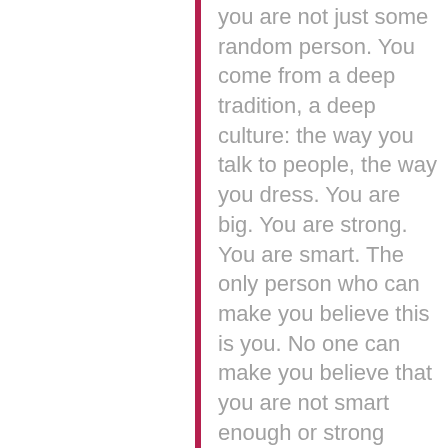you are not just some random person. You come from a deep tradition, a deep culture: the way you talk to people, the way you dress. You are big. You are strong. You are smart. The only person who can make you believe this is you. No one can make you believe that you are not smart enough or strong enough. Society might [try to] make you believe that, but you have to be strong and proud because of your ancestry. On Sundays I have them dress in African wear for church. My father would visit and draw out the family tree, explaining to